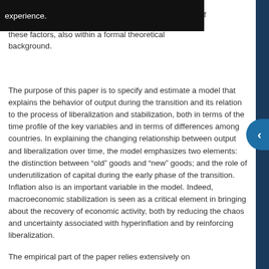Martinez-Osorio et al. ... experience. these factors, also within a formal theoretical background.
The purpose of this paper is to specify and estimate a model that explains the behavior of output during the transition and its relation to the process of liberalization and stabilization, both in terms of the time profile of the key variables and in terms of differences among countries. In explaining the changing relationship between output and liberalization over time, the model emphasizes two elements: the distinction between “old” goods and “new” goods; and the role of underutilization of capital during the early phase of the transition. Inflation also is an important variable in the model. Indeed, macroeconomic stabilization is seen as a critical element in bringing about the recovery of economic activity, both by reducing the chaos and uncertainty associated with hyperinflation and by reinforcing liberalization.
The empirical part of the paper relies extensively on the li... to data ...